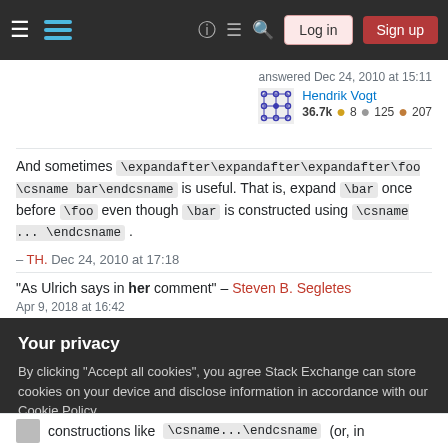Stack Exchange navigation bar with hamburger menu, logo, help, chat, search, Log in, Sign up
answered Dec 24, 2010 at 15:11
Hendrik Vogt 36.7k ● 8 ● 125 ● 207
And sometimes \expandafter\expandafter\expandafter\foo \csname bar\endcsname is useful. That is, expand \bar once before \foo even though \bar is constructed using \csname ... \endcsname .
– TH. Dec 24, 2010 at 17:18
"As Ulrich says in her comment" – Steven B. Segletes
Apr 9, 2018 at 16:42
Your privacy
By clicking "Accept all cookies", you agree Stack Exchange can store cookies on your device and disclose information in accordance with our Cookie Policy.
Accept all cookies   Customize settings
constructions like \csname...\endcsname (or, in